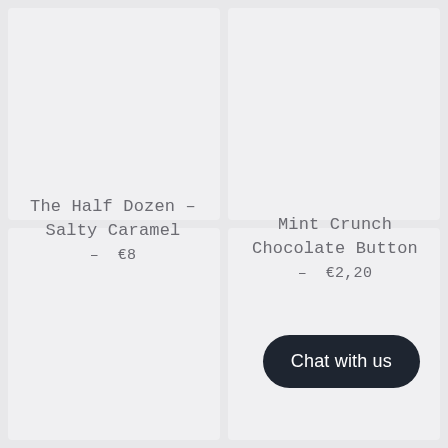The Half Dozen – Salty Caramel
– €8
Mint Crunch Chocolate Button
– €2,20
Chat with us